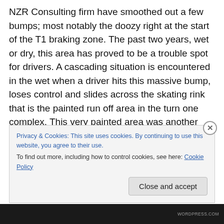NZR Consulting firm have smoothed out a few bumps; most notably the doozy right at the start of the T1 braking zone. The past two years, wet or dry, this area has proved to be a trouble spot for drivers. A cascading situation is encountered in the wet when a driver hits this massive bump, loses control and slides across the skating rink that is the painted run off area in the turn one complex. This very painted area was another area that has seen some modifications as well to somehow reduce the slipperiness of the area. All sound like good changes that should
Privacy & Cookies: This site uses cookies. By continuing to use this website, you agree to their use.
To find out more, including how to control cookies, see here: Cookie Policy
Close and accept